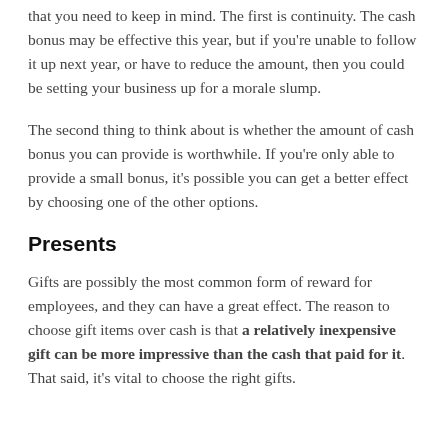that you need to keep in mind. The first is continuity. The cash bonus may be effective this year, but if you're unable to follow it up next year, or have to reduce the amount, then you could be setting your business up for a morale slump.
The second thing to think about is whether the amount of cash bonus you can provide is worthwhile. If you're only able to provide a small bonus, it's possible you can get a better effect by choosing one of the other options.
Presents
Gifts are possibly the most common form of reward for employees, and they can have a great effect. The reason to choose gift items over cash is that a relatively inexpensive gift can be more impressive than the cash that paid for it. That said, it's vital to choose the right gifts.